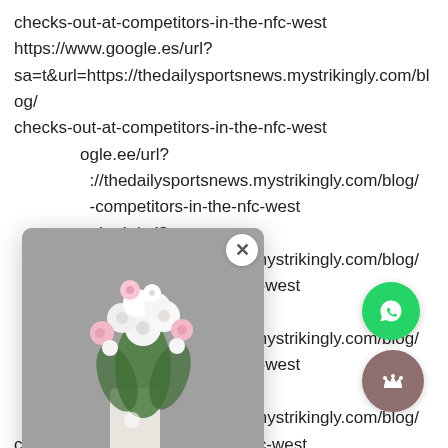checks-out-at-competitors-in-the-nfc-west
https://www.google.es/url?
sa=t&url=https://thedailysportsnews.mystrikingly.com/blog/
checks-out-at-competitors-in-the-nfc-west
(partially obscured) ogle.ee/url?
://thedailysportsnews.mystrikingly.com/blog/
-competitors-in-the-nfc-west
ogle.dz/url?
://thedailysportsnews.mystrikingly.com/blog/
-competitors-in-the-nfc-west
ogle.dk/url?
://thedailysportsnews.mystrikingly.com/blog/
-competitors-in-the-nfc-west
ogle.dj/url?
://thedailysportsnews.mystrikingly.com/blog/
checks-out-competitors-in-the-nfc-west
https://www.google.de/url?
[Figure (screenshot): Popup review card from Dainty Pastels shop with photo of person holding white flower bouquet, 5-star review by Nidhi M. reading 'very fresh and very beautiful . Loved the ...', with close button (X), Dainty Pastels logo at bottom, and LOOX watermark]
[Figure (other): WhatsApp floating action button - green circle with WhatsApp phone icon]
[Figure (other): Crown floating action button - mauve/brown circle with white crown icon]